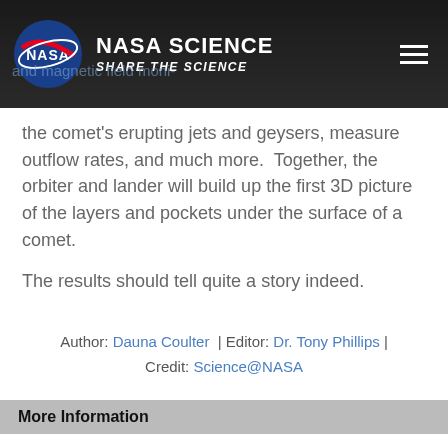NASA SCIENCE | SHARE THE SCIENCE
the comet's erupting jets and geysers, measure outflow rates, and much more.  Together, the orbiter and lander will build up the first 3D picture of the layers and pockets under the surface of a comet.
The results should tell quite a story indeed.
Author: Dauna Coulter | Editor: Dr. Tony Phillips | Credit: Science@NASA
More Information
Rosetta at a Glance -- from the European Space Agency